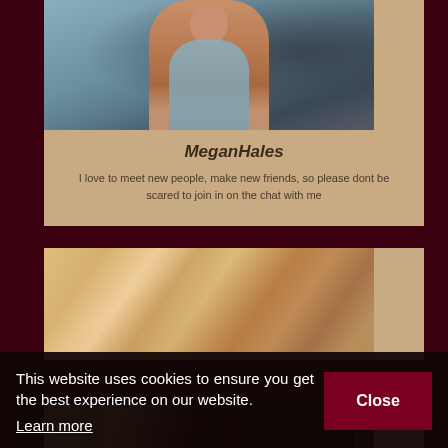[Figure (photo): Photo of a woman in a blue-grey bodysuit sitting on a sofa against a dark patterned background]
MeganHales
I love to meet new people, make new friends, so please dont be scared to join in on the chat with me
[Figure (photo): Photo of a woman lying down, partially cropped]
This website uses cookies to ensure you get the best experience on our website. Learn more
[Figure (photo): Partial photo at bottom of page, cropped]